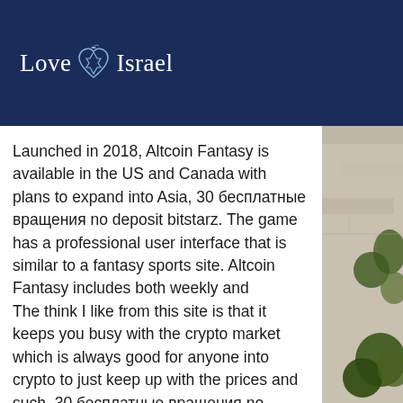Love Israel
Launched in 2018, Altcoin Fantasy is available in the US and Canada with plans to expand into Asia, 30 бесплатные вращения no deposit bitstarz. The game has a professional user interface that is similar to a fantasy sports site. Altcoin Fantasy includes both weekly and monthly competitions where you can win BTC or other cryptocurrencies, such as ether (ETH), lumens (XLM), and many more. Altcoin Fantasy has over 82,000 players and paid out more than $25,000 in prizes to date.
The think I like from this site is that it keeps you busy with the crypto market which is always good for anyone into crypto to just keep up with the prices and such, 30 бесплатные вращения no deposit bitstarz. In this article, we will talk about bookmakers
[Figure (photo): Right side panel showing green foliage and stone wall background]